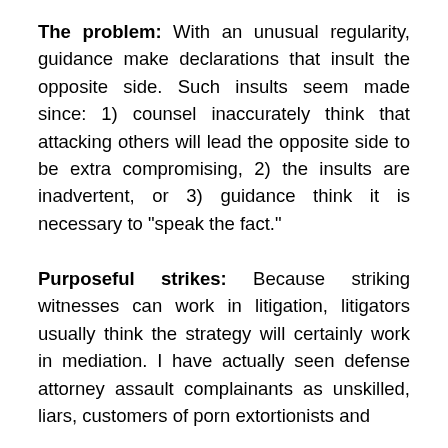The problem: With an unusual regularity, guidance make declarations that insult the opposite side. Such insults seem made since: 1) counsel inaccurately think that attacking others will lead the opposite side to be extra compromising, 2) the insults are inadvertent, or 3) guidance think it is necessary to "speak the fact."
Purposeful strikes: Because striking witnesses can work in litigation, litigators usually think the strategy will certainly work in mediation. I have actually seen defense attorney assault complainants as unskilled, liars, customers of porn extortionists and